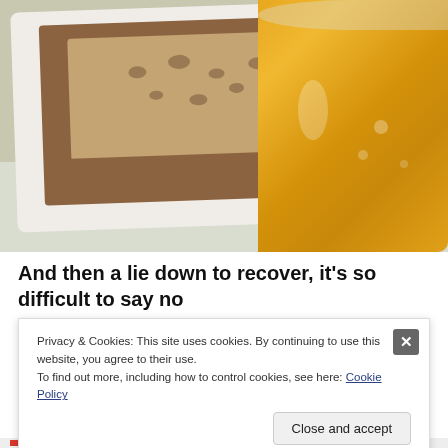[Figure (photo): Top-down photo of banana bread slices on a white rectangular plate alongside a glass of orange juice, on a light wooden table surface.]
And then a lie down to recover, it's so difficult to say no
(partially visible continuation text)
Privacy & Cookies: This site uses cookies. By continuing to use this website, you agree to their use.
To find out more, including how to control cookies, see here: Cookie Policy
Close and accept